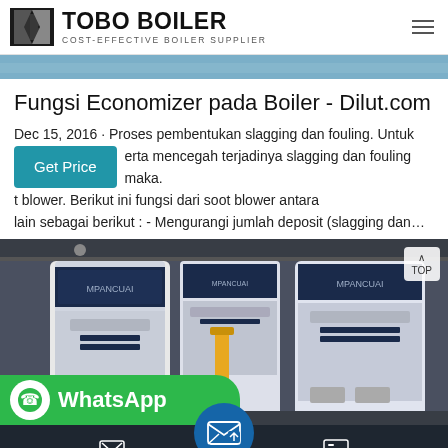TOBO BOILER COST-EFFECTIVE BOILER SUPPLIER
[Figure (photo): Top blue-tinted industrial image strip]
Fungsi Economizer pada Boiler - Dilut.com
Dec 15, 2016 · Proses pembentukan slagging dan fouling. Untuk erta mencegah terjadinya slagging dan fouling maka. t blower. Berikut ini fungsi dari soot blower antara lain sebagai berikut : - Mengurangi jumlah deposit (slagging dan...
[Figure (photo): Industrial boiler machines in a factory setting, dark blue panels with yellow pipe]
Send Message | Inquiry Online